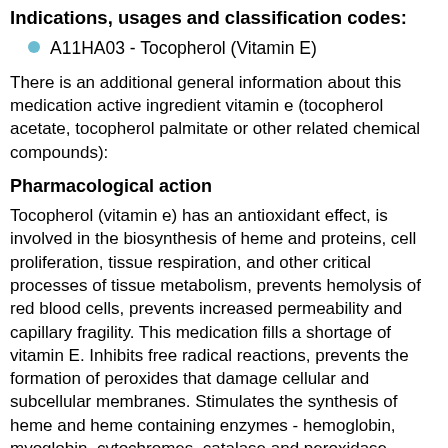Indications, usages and classification codes:
A11HA03 - Tocopherol (Vitamin E)
There is an additional general information about this medication active ingredient vitamin e (tocopherol acetate, tocopherol palmitate or other related chemical compounds):
Pharmacological action
Tocopherol (vitamin e) has an antioxidant effect, is involved in the biosynthesis of heme and proteins, cell proliferation, tissue respiration, and other critical processes of tissue metabolism, prevents hemolysis of red blood cells, prevents increased permeability and capillary fragility. This medication fills a shortage of vitamin E. Inhibits free radical reactions, prevents the formation of peroxides that damage cellular and subcellular membranes. Stimulates the synthesis of heme and heme containing enzymes - hemoglobin, myoglobin, cytochromes, catalase and peroxidase. Improves tissue respiration, stimulates the synthesis of